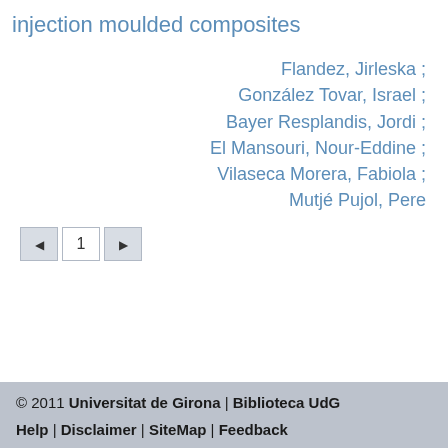injection moulded composites
Flandez, Jirleska ;
González Tovar, Israel ;
Bayer Resplandis, Jordi ;
El Mansouri, Nour-Eddine ;
Vilaseca Morera, Fabiola ;
Mutjé Pujol, Pere
1
© 2011 Universitat de Girona | Biblioteca UdG
Help | Disclaimer | SiteMap | Feedback